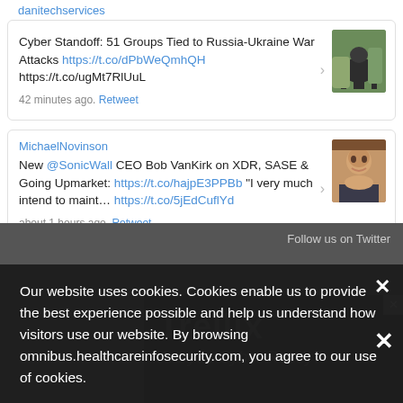danitechservices
Cyber Standoff: 51 Groups Tied to Russia-Ukraine War Attacks https://t.co/dPbWeQmhQH
https://t.co/ugMt7RlUuL
42 minutes ago. Retweet
MichaelNovinson
New @SonicWall CEO Bob VanKirk on XDR, SASE & Going Upmarket: https://t.co/hajpE3PPBb "I very much intend to maint... https://t.co/5jEdCuflYd
about 1 hours ago. Retweet
Follow us on Twitter
Our website uses cookies. Cookies enable us to provide the best experience possible and help us understand how visitors use our website. By browsing omnibus.healthcareinfosecurity.com, you agree to our use of cookies.
[Figure (screenshot): Trellix advertisement banner with 'Are you Cyber Ready?' text]